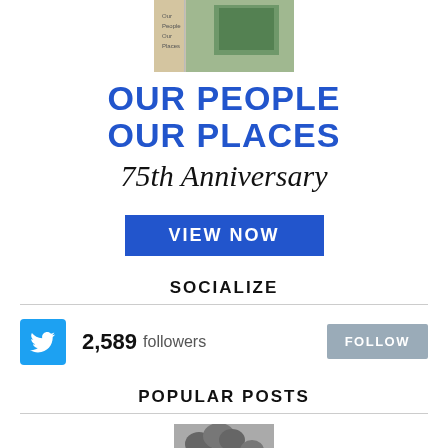[Figure (photo): Book cover image showing text and a tree/nature photo, partially visible at top of page]
OUR PEOPLE OUR PLACES
75th Anniversary
VIEW NOW
SOCIALIZE
2,589 followers
FOLLOW
POPULAR POSTS
[Figure (photo): Thumbnail image of trees/nature for popular posts section]